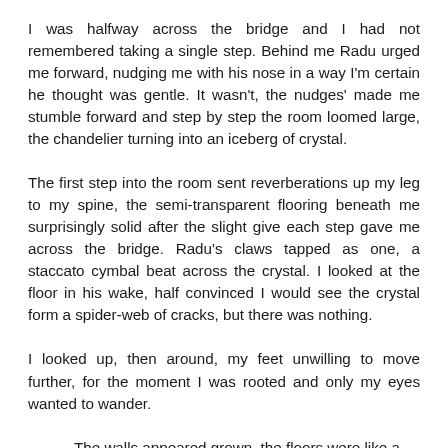I was halfway across the bridge and I had not remembered taking a single step. Behind me Radu urged me forward, nudging me with his nose in a way I'm certain he thought was gentle. It wasn't, the nudges' made me stumble forward and step by step the room loomed large, the chandelier turning into an iceberg of crystal.

The first step into the room sent reverberations up my leg to my spine, the semi-transparent flooring beneath me surprisingly solid after the slight give each step gave me across the bridge. Radu's claws tapped as one, a staccato cymbal beat across the crystal. I looked at the floor in his wake, half convinced I would see the crystal form a spider-web of cracks, but there was nothing.

I looked up, then around, my feet unwilling to move further, for the moment I was rooted and only my eyes wanted to wander.

The walls appeared grown, the floors were like a